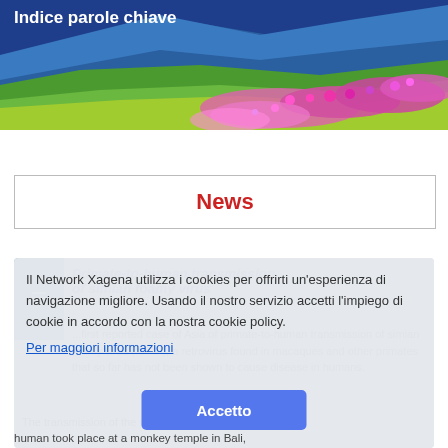Indice parole chiave
[Figure (photo): Mountain landscape with pink/purple flowers and blue mountain backdrop]
News
[Figure (screenshot): Cookie consent overlay with text: Il Network Xagena utilizza i cookies per offrirti un'esperienza di navigazione migliore. Usando il nostro servizio accetti l'impiego di cookie in accordo con la nostra cookie policy. Per maggiori informazioni. Button: Accetto]
Primate-to-human transmission of simian foamy virus
...first reported case of Asia of primate-to-human transmission of simian foamy virus ( SFV ), a retrovirus found in macaques and other primates that so far has not been shown to cause disease in humans. The transmission of the virus from a monkey to a human took place at a monkey temple in Bali